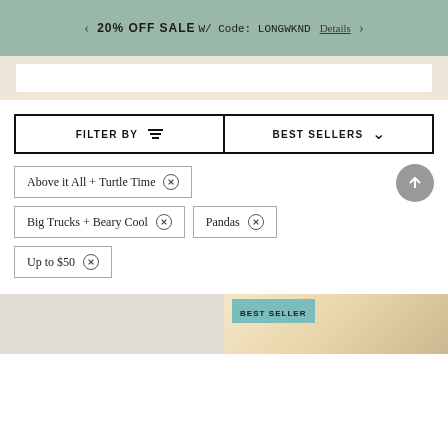20% OFF SALE W/ Code: LONGWKND  Details
FILTER BY
BEST SELLERS
Above it All + Turtle Time ×
Big Trucks + Beary Cool ×
Pandas ×
Up to $50 ×
BEST SELLER